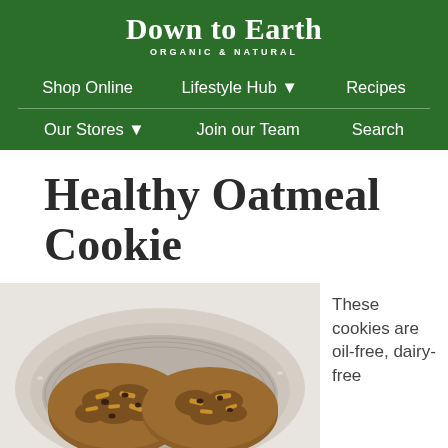Down to Earth ORGANIC & NATURAL
Shop Online   Lifestyle Hub ▾   Recipes
Our Stores ▾   Join our Team   Search
Healthy Oatmeal Cookie
[Figure (photo): Overhead photo of oatmeal cookies in a round ceramic bowl on a white surface]
These cookies are oil-free, dairy-free